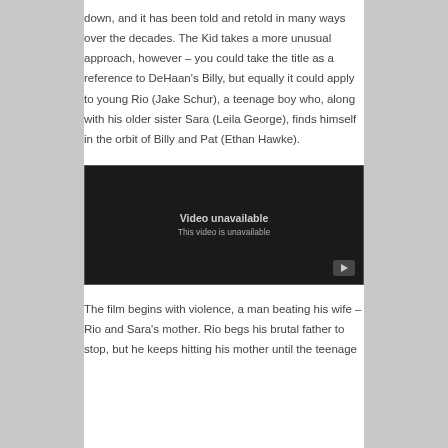down, and it has been told and retold in many ways over the decades. The Kid takes a more unusual approach, however – you could take the title as a reference to DeHaan's Billy, but equally it could apply to young Rio (Jake Schur), a teenage boy who, along with his older sister Sara (Leila George), finds himself in the orbit of Billy and Pat (Ethan Hawke).
[Figure (screenshot): Embedded video player showing 'Video unavailable' message with a play button in the bottom right corner on a dark background.]
The film begins with violence, a man beating his wife – Rio and Sara's mother. Rio begs his brutal father to stop, but he keeps hitting his mother until the teenage